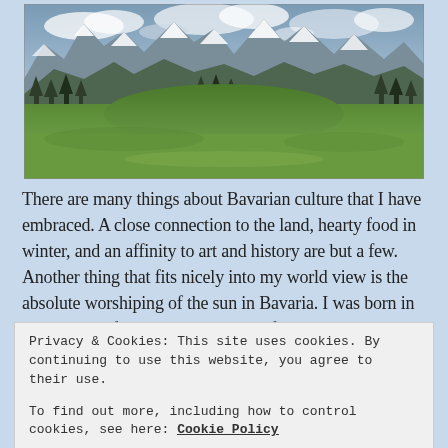[Figure (photo): Landscape photograph of Bavarian Alps with snow-capped mountains in the background, green meadows in the foreground, and conifer trees in the middle ground under a partly cloudy sky.]
There are many things about Bavarian culture that I have embraced. A close connection to the land, hearty food in winter, and an affinity to art and history are but a few. Another thing that fits nicely into my world view is the absolute worshiping of the sun in Bavaria. I was born in San Diego, after all, and did most of my
Privacy & Cookies: This site uses cookies. By continuing to use this website, you agree to their use.
To find out more, including how to control cookies, see here: Cookie Policy
Close and accept
sun makes her infrequent appearance (for some odd